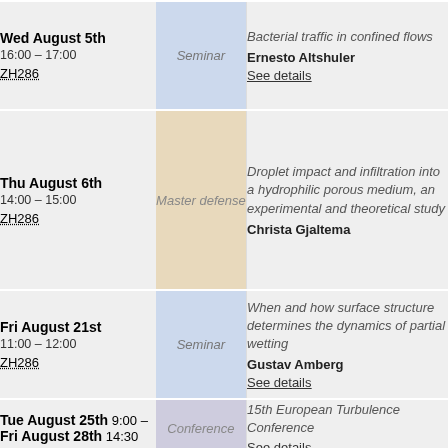| Date/Time/Room | Type | Title/Speaker |
| --- | --- | --- |
| Wed August 5th
16:00 – 17:00
ZH286 | Seminar | Bacterial traffic in confined flows
Ernesto Altshuler
See details |
| Thu August 6th
14:00 – 15:00
ZH286 | Master defense | Droplet impact and infiltration into a hydrophilic porous medium, an experimental and theoretical study
Christa Gjaltema |
| Fri August 21st
11:00 – 12:00
ZH286 | Seminar | When and how surface structure determines the dynamics of partial wetting
Gustav Amberg
See details |
| Tue August 25th 9:00 –
Fri August 28th 14:30 | Conference | 15th European Turbulence Conference
See details |